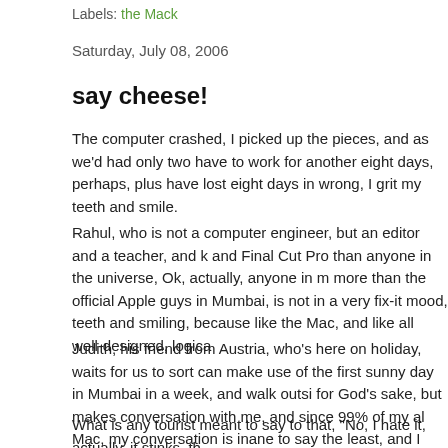Labels: the Mack
Saturday, July 08, 2006
say cheese!
The computer crashed, I picked up the pieces, and as we'd had only two have to work for another eight days, perhaps, plus have lost eight days in wrong, I grit my teeth and smile.
Rahul, who is not a computer engineer, but an editor and a teacher, and knows Final Cut Pro than anyone in the universe, Ok, actually, anyone in my more than the official Apple guys in Mumbai, is not in a very fix-it mood, a teeth and smiling, because like the Mac, and like all well-designed, logica
Judith, his friend from Austria, who's here on holiday, waits for us to sort o can make use of the first sunny day in Mumbai in a week, and walk outsi for God's sake, but makes conversation with me, and since 99% of my al Mac, my conversation is inane to say the least, and I start off by asking h long you been here?, is it your first time? what you do?", luckily biting my you like it here?"
What is any tourist meant to say to that, "No, I hate it, actually, it stinks, th